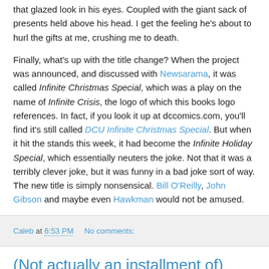that glazed look in his eyes. Coupled with the giant sack of presents held above his head. I get the feeling he's about to hurl the gifts at me, crushing me to death.
Finally, what's up with the title change? When the project was announced, and discussed with Newsarama, it was called Infinite Christmas Special, which was a play on the name of Infinite Crisis, the logo of which this books logo references. In fact, if you look it up at dccomics.com, you'll find it's still called DCU Infinite Christmas Special. But when it hit the stands this week, it had become the Infinite Holiday Special, which essentially neuters the joke. Not that it was a terribly clever joke, but it was funny in a bad joke sort of way. The new title is simply nonsensical. Bill O'Reilly, John Gibson and maybe even Hawkman would not be amused.
Caleb at 6:53 PM   No comments:
(Not actually an installment of) Actually Essential Storylines: Blue Beetle